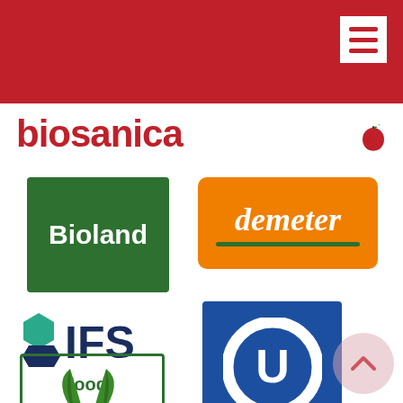biosanica - navigation header with menu icon
[Figure (logo): Bioland organic certification logo - green rectangle with white bold text 'Bioland']
[Figure (logo): Demeter biodynamic certification logo - orange rounded rectangle with white italic text 'demeter' and green underline]
[Figure (logo): IFS Food certification logo - hexagon icons in teal and dark blue with 'IFS' large text and 'Food' subtitle]
[Figure (logo): OU Kosher certification logo - blue square with white circle containing letter U]
[Figure (logo): Naturland organic certification logo - green bordered rectangle with two green leaf shapes and italic 'Naturland' text]